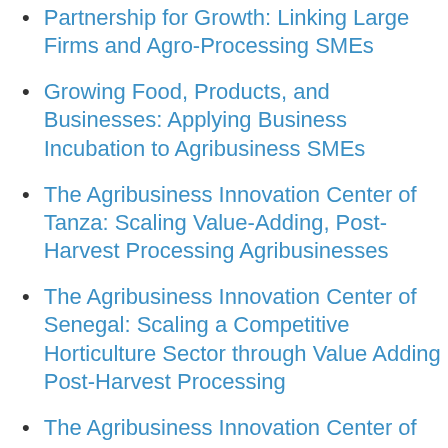Partnership for Growth: Linking Large Firms and Agro-Processing SMEs
Growing Food, Products, and Businesses: Applying Business Incubation to Agribusiness SMEs
The Agribusiness Innovation Center of Tanza: Scaling Value-Adding, Post-Harvest Processing Agribusinesses
The Agribusiness Innovation Center of Senegal: Scaling a Competitive Horticulture Sector through Value Adding Post-Harvest Processing
The Agribusiness Innovation Center of Moza